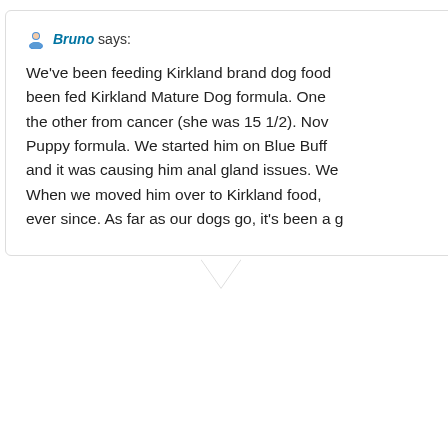Bruno says: We've been feeding Kirkland brand dog food... been fed Kirkland Mature Dog formula. One the other from cancer (she was 15 1/2). Now Puppy formula. We started him on Blue Buff and it was causing him anal gland issues. We When we moved him over to Kirkland food, ever since. As far as our dogs go, it's been a g
Ap
Joe says: I'm on the same boat as you Bruno Terrier on Blue Buffalo. Tried both t stools never firmed up on either. I from Blue Buffalo Lamb to the Ki